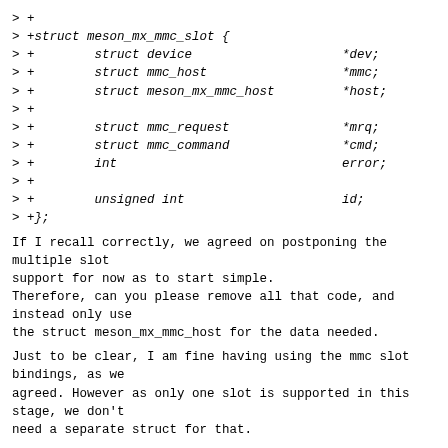> +
> +struct meson_mx_mmc_slot {
> +        struct device                    *dev;
> +        struct mmc_host                  *mmc;
> +        struct meson_mx_mmc_host         *host;
> +
> +        struct mmc_request               *mrq;
> +        struct mmc_command               *cmd;
> +        int                              error;
> +
> +        unsigned int                     id;
> +};
If I recall correctly, we agreed on postponing the multiple slot
support for now as to start simple.
Therefore, can you please remove all that code, and instead only use
the struct meson_mx_mmc_host for the data needed.
Just to be clear, I am fine having using the mmc slot bindings, as we
agreed. However as only one slot is supported in this stage, we don't
need a separate struct for that.
> +
> +struct meson_mx_mmc_host {
> +        struct device                    *dev;
> +